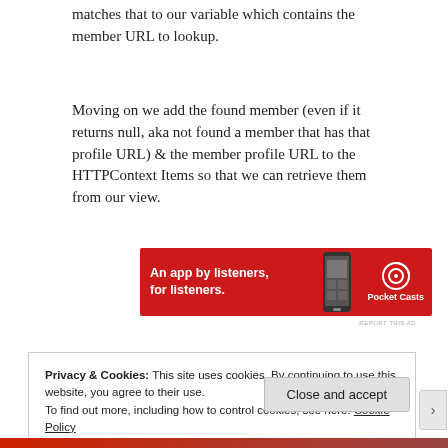matches that to our variable which contains the member URL to lookup.
Moving on we add the found member (even if it returns null, aka not found a member that has that profile URL) & the member profile URL to the HTTPContext Items so that we can retrieve them from our view.
[Figure (other): Red advertisement banner for Pocket Casts app: 'An app by listeners, for listeners.' with phone image and Pocket Casts logo]
REPORT THIS AD
Privacy & Cookies: This site uses cookies. By continuing to use this website, you agree to their use.
To find out more, including how to control cookies, see here: Cookie Policy
Close and accept